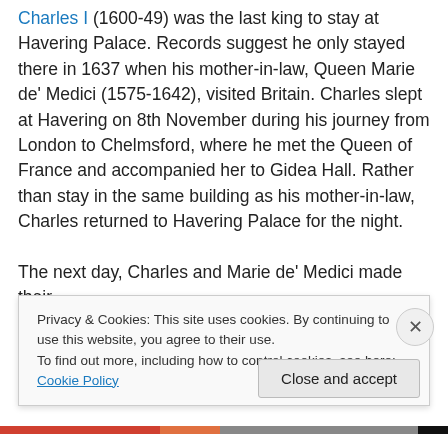Charles I (1600-49) was the last king to stay at Havering Palace. Records suggest he only stayed there in 1637 when his mother-in-law, Queen Marie de' Medici (1575-1642), visited Britain. Charles slept at Havering on 8th November during his journey from London to Chelmsford, where he met the Queen of France and accompanied her to Gidea Hall. Rather than stay in the same building as his mother-in-law, Charles returned to Havering Palace for the night.

The next day, Charles and Marie de' Medici made their way to St James's Palace...
Privacy & Cookies: This site uses cookies. By continuing to use this website, you agree to their use.
To find out more, including how to control cookies, see here: Cookie Policy
Close and accept